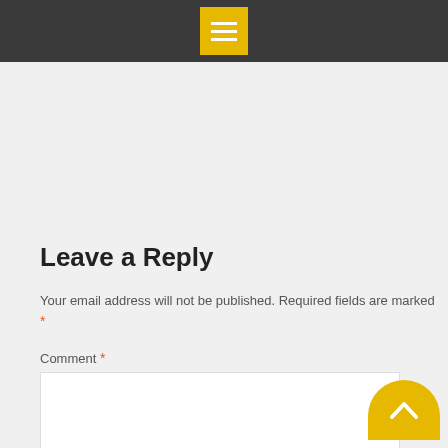Menu icon header bar
Leave a Reply
Your email address will not be published. Required fields are marked *
Comment *